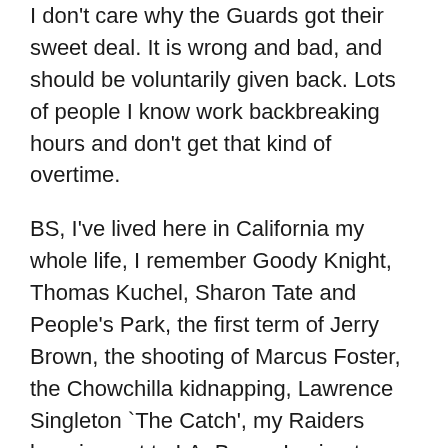I don't care why the Guards got their sweet deal. It is wrong and bad, and should be voluntarily given back. Lots of people I know work backbreaking hours and don't get that kind of overtime.
BS, I've lived here in California my whole life, I remember Goody Knight, Thomas Kuchel, Sharon Tate and People's Park, the first term of Jerry Brown, the shooting of Marcus Foster, the Chowchilla kidnapping, Lawrence Singleton `The Catch', my Raiders bugging out to LA, Brown Losing to Wilson Loma Prieta, Rodney King and riots, oh and on and on. I'm a Californian back to my grandfather and great-great uncles, who homesteaded in Kings County.
But where you grow up and reside doesn't